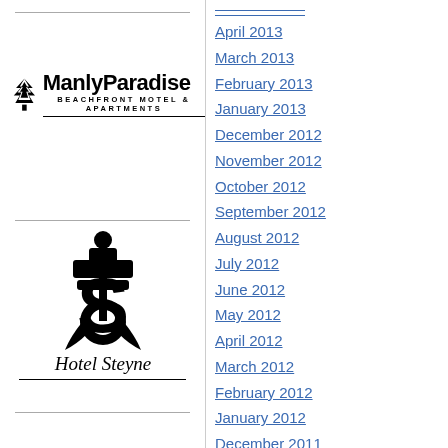[Figure (logo): Manly Paradise Beachfront Motel & Apartments logo with stylized tree icon]
[Figure (logo): Hotel Steyne logo with anchor/S graphic and cursive Hotel Steyne text]
April 2013
March 2013
February 2013
January 2013
December 2012
November 2012
October 2012
September 2012
August 2012
July 2012
June 2012
May 2012
April 2012
March 2012
February 2012
January 2012
December 2011
November 2011
October 2011
September 2011
August 2011